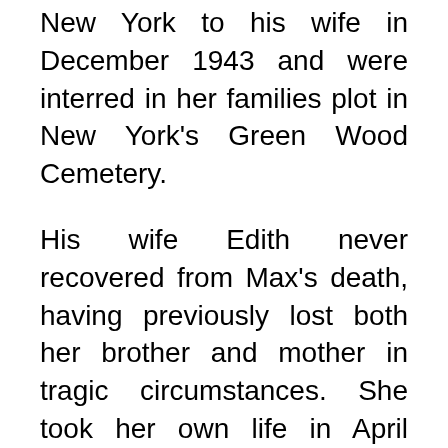New York to his wife in December 1943 and were interred in her families plot in New York's Green Wood Cemetery.
His wife Edith never recovered from Max's death, having previously lost both her brother and mother in tragic circumstances. She took her own life in April 1948. Her will requested that an alumni room be created in Rutgers College in the name of her mother